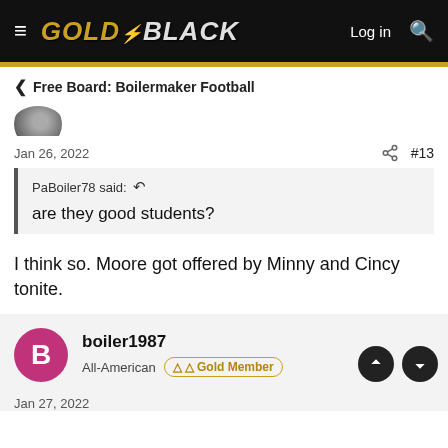GOLD & BLACK — Log in
< Free Board: Boilermaker Football
Jan 26, 2022  #13
PaBoiler78 said:  ↩  are they good students?
I think so. Moore got offered by Minny and Cincy tonite.
boiler1987
All-American  Gold Member
Jan 27, 2022